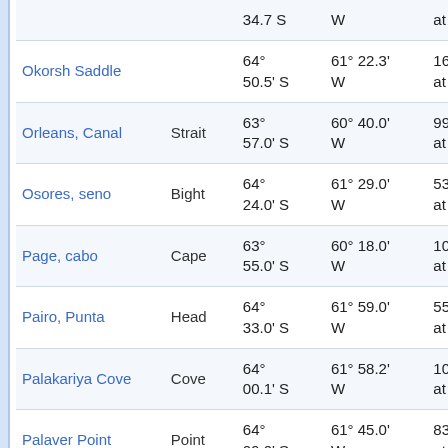| Name | Type | Latitude | Longitude |  |
| --- | --- | --- | --- | --- |
|  |  | 34.7 S | W | at |
| Okorsh Saddle |  | 64° 50.5' S | 61° 22.3' W | 16 at |
| Orleans, Canal | Strait | 63° 57.0' S | 60° 40.0' W | 99 at |
| Osores, seno | Bight | 64° 24.0' S | 61° 29.0' W | 53 at |
| Page, cabo | Cape | 63° 55.0' S | 60° 18.0' W | 10 at |
| Pairo, Punta | Head | 64° 33.0' S | 61° 59.0' W | 55 at |
| Palakariya Cove | Cove | 64° 00.1' S | 61° 58.2' W | 10 at |
| Palaver Point | Point | 64° 09.0' S | 61° 45.0' W | 83 at |
| Palaver Point | Point | 64° | 61° 46.0' | 84 |